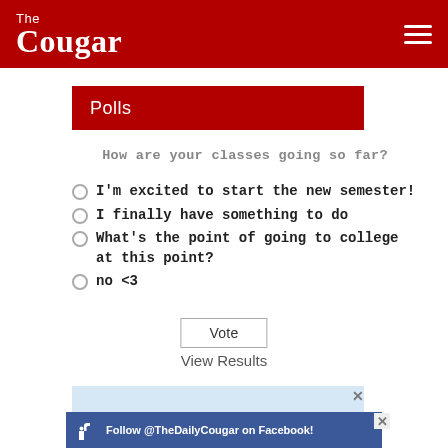The Cougar
Polls
How are your classes going so far?
I'm excited to start the new semester!
I finally have something to do
What's the point of going to college at this point?
no <3
Vote
View Results
[Figure (other): Advertisement banner with light blue background]
[Figure (other): Follow @TheDailyCougar on Facebook! banner in blue with thumbs up icon]